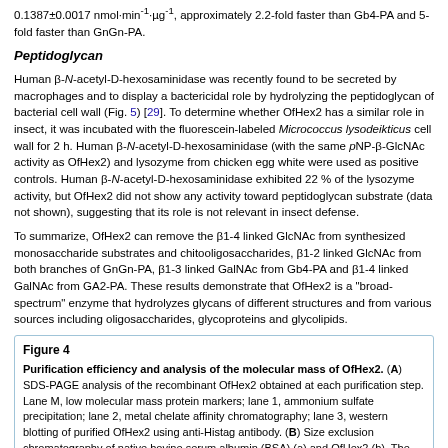0.1387±0.0017 nmol·min⁻¹·µg⁻¹, approximately 2.2-fold faster than Gb4-PA and 5-fold faster than GnGn-PA.
Peptidoglycan
Human β-N-acetyl-D-hexosaminidase was recently found to be secreted by macrophages and to display a bactericidal role by hydrolyzing the peptidoglycan of bacterial cell wall (Fig. 5) [29]. To determine whether OfHex2 has a similar role in insect, it was incubated with the fluorescein-labeled Micrococcus lysodeikticus cell wall for 2 h. Human β-N-acetyl-D-hexosaminidase (with the same pNP-β-GlcNAc activity as OfHex2) and lysozyme from chicken egg white were used as positive controls. Human β-N-acetyl-D-hexosaminidase exhibited 22 % of the lysozyme activity, but OfHex2 did not show any activity toward peptidoglycan substrate (data not shown), suggesting that its role is not relevant in insect defense.
To summarize, OfHex2 can remove the β1-4 linked GlcNAc from synthesized monosaccharide substrates and chitooligosaccharides, β1-2 linked GlcNAc from both branches of GnGn-PA, β1-3 linked GalNAc from Gb4-PA and β1-4 linked GalNAc from GA2-PA. These results demonstrate that OfHex2 is a "broad-spectrum" enzyme that hydrolyzes glycans of different structures and from various sources including oligosaccharides, glycoproteins and glycolipids.
Figure 4
Purification efficiency and analysis of the molecular mass of OfHex2. (A) SDS-PAGE analysis of the recombinant OfHex2 obtained at each purification step. Lane M, low molecular mass protein markers; lane 1, ammonium sulfate precipitation; lane 2, metal chelate affinity chromatography; lane 3, western blotting of purified OfHex2 using anti-Histag antibody. (B) Size exclusion chromatography of native bovine serum albumin (BSA) (a) and OfHex2 (b). The three compositions